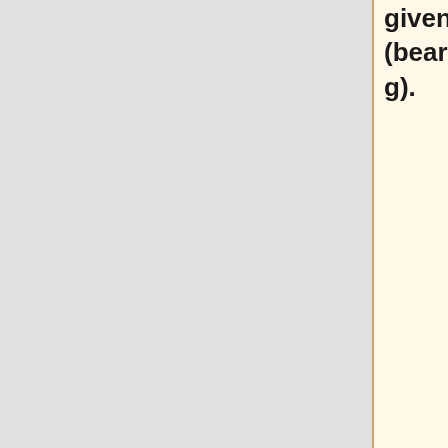viewing a salient landmark (from any location), cells that become active when searching for a particular goal location (irrespective of location or view), and cells that respond when traveling in a given direction (bearing/heading).
[[Publications#JacoEtal10|Jaco...
<!-- {| style="margin: 0...